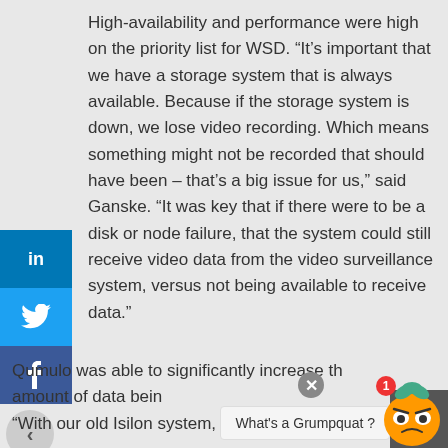High-availability and performance were high on the priority list for WSD. “It’s important that we have a storage system that is always available. Because if the storage system is down, we lose video recording. Which means something might not be recorded that should have been – that’s a big issue for us,” said Ganske. “It was key that if there were to be a disk or node failure, that the system could still receive video data from the video surveillance system, versus not being available to receive data.”
Qumulo was able to significantly increase the amount of data bein... “With our old Isilon system, we could only